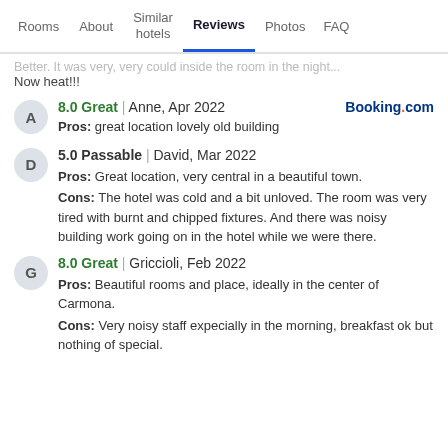Rooms | About | Similar hotels | Reviews | Photos | FAQ
...it was very, very cold inside the room in the night... Now heat!!!
8.0 Great | Anne, Apr 2022 — Pros: great location lovely old building
5.0 Passable | David, Mar 2022 — Pros: Great location, very central in a beautiful town. Cons: The hotel was cold and a bit unloved. The room was very tired with burnt and chipped fixtures. And there was noisy building work going on in the hotel while we were there.
8.0 Great | Griccioli, Feb 2022 — Pros: Beautiful rooms and place, ideally in the center of Carmona. Cons: Very noisy staff expecially in the morning, breakfast ok but nothing of special.